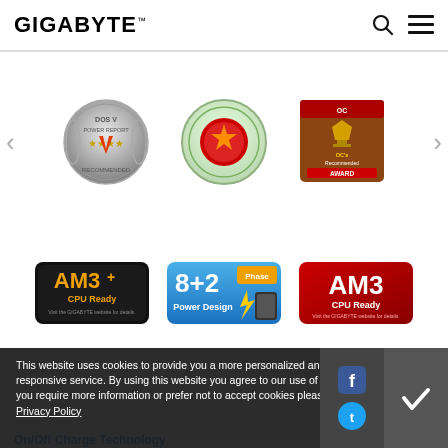GIGABYTE
[Figure (logo): Award badges carousel: DOS V Power Expert award (silver), circular red badge, OC Recommended Award (gold trophy)]
[Figure (logo): AM3+ CPU Ready badge (black/gold), 8+2 Phase Power Design badge (blue with lightning bolt), AM3 CPU Ready badge (red)]
[Figure (illustration): 3D Industry banner with motherboard 3D render, blue background, label '3D INDUSTRY >']
This website uses cookies to provide you a more personalized and responsive service. By using this website you agree to our use of cookies. If you require more information or prefer not to accept cookies please visit our Privacy Policy
On/Off Charge Technology